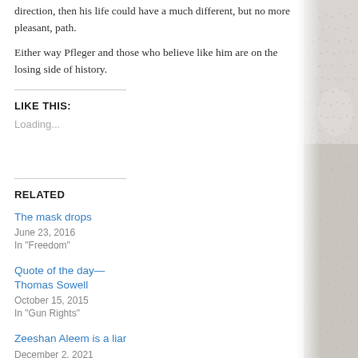direction, then his life could have a much different, but no more pleasant, path.
Either way Pfleger and those who believe like him are on the losing side of history.
LIKE THIS:
Loading...
RELATED
The mask drops
June 23, 2016
In "Freedom"
Quote of the day—Thomas Sowell
October 15, 2015
In "Gun Rights"
Zeeshan Aleem is a liar
December 2, 2021
[Figure (photo): Partial grayscale photo of a person on the right side of the page]